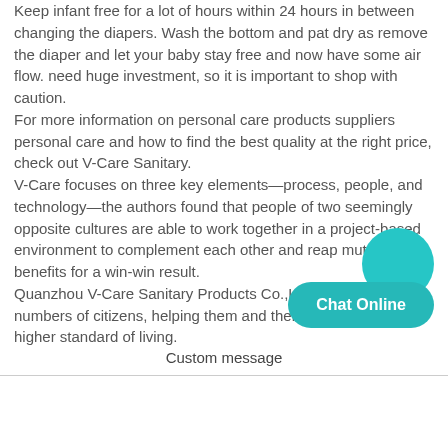Keep infant free for a lot of hours within 24 hours in between changing the diapers. Wash the bottom and pat dry as remove the diaper and let your baby stay free and now have some air flow. need huge investment, so it is important to shop with caution. For more information on personal care products suppliers personal care and how to find the best quality at the right price, check out V-Care Sanitary. V-Care focuses on three key elements—process, people, and technology—the authors found that people of two seemingly opposite cultures are able to work together in a project-based environment to complement each other and reap mutual benefits for a win-win result. Quanzhou V-Care Sanitary Products Co.,Ltd. employs a numbers of citizens, helping them and their families achieve a higher standard of living.
[Figure (other): Teal circular chat button icon]
Chat Online
Custom message